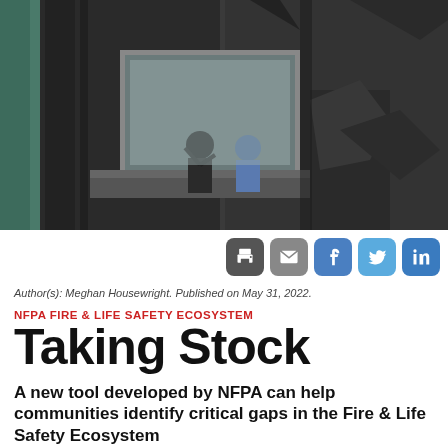[Figure (photo): Two people sitting in the window of a fire-damaged building with charred walls and debris]
[Figure (infographic): Row of social sharing buttons: print (dark gray), email (gray), Facebook (blue), Twitter (light blue), LinkedIn (dark blue)]
Author(s): Meghan Housewright. Published on May 31, 2022.
NFPA FIRE & LIFE SAFETY ECOSYSTEM
Taking Stock
A new tool developed by NFPA can help communities identify critical gaps in the Fire & Life Safety Ecosystem